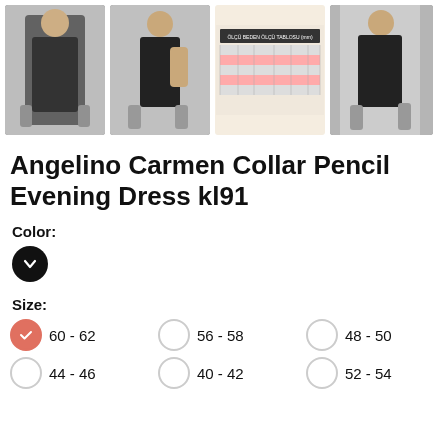[Figure (photo): Four product images of a black pencil evening dress: two model photos showing front poses, one size chart image, and one model photo showing a side pose]
Angelino Carmen Collar Pencil Evening Dress kl91
Color:
[Figure (other): Black circular color swatch with chevron/dropdown indicator]
Size:
60 - 62 (selected)
56 - 58
48 - 50
44 - 46
40 - 42
52 - 54